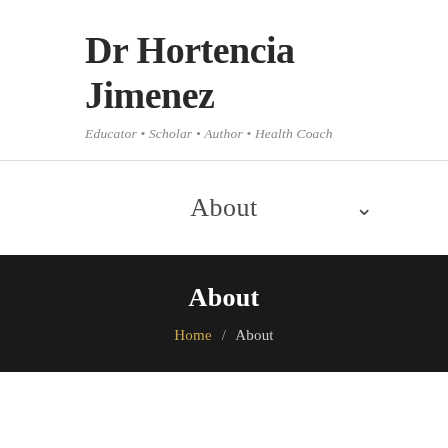Dr Hortencia Jimenez
Educator • Scholar • Author • Health Coach
About
About
Home / About